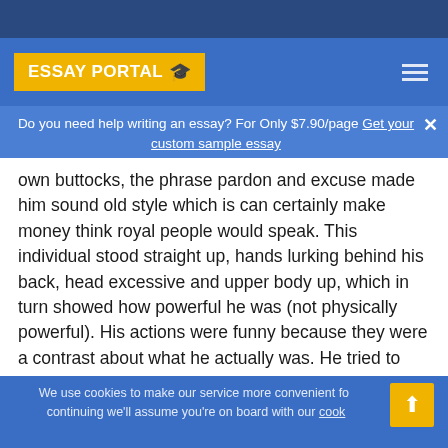ESSAY PORTAL
Do you need help writing an essay? For Only $7.90/page Get your custom sample essay
own buttocks, the phrase pardon and excuse made him sound old style which is can certainly make money think royal people would speak. This individual stood straight up, hands lurking behind his back, head excessive and upper body up, which in turn showed how powerful he was (not physically powerful). His actions were funny because they were a contrast about what he actually was. He tried to make himself big and manly yet really he was small and appeared more womanly then manly.
We use cookies to make our service more convenient fo... continuing we'll assume you're on board with our cook...